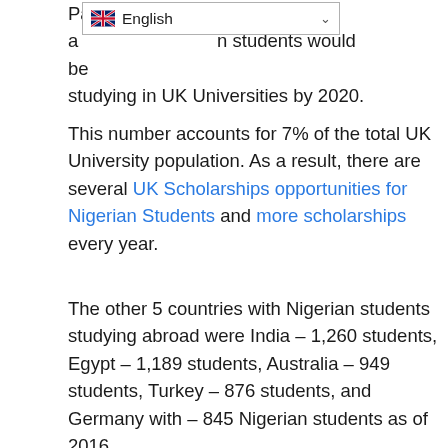Parliament, said that a [language selector] n students would be studying in UK Universities by 2020.
This number accounts for 7% of the total UK University population. As a result, there are several UK Scholarships opportunities for Nigerian Students and more scholarships every year.
The other 5 countries with Nigerian students studying abroad were India – 1,260 students, Egypt – 1,189 students, Australia – 949 students, Turkey – 876 students, and Germany with – 845 Nigerian students as of 2016.